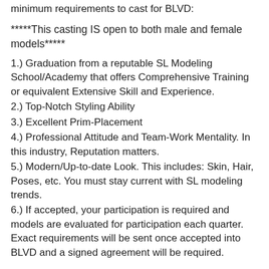minimum requirements to cast for BLVD:
*****This casting IS open to both male and female models*****
1.) Graduation from a reputable SL Modeling School/Academy that offers Comprehensive Training or equivalent Extensive Skill and Experience.
2.) Top-Notch Styling Ability
3.) Excellent Prim-Placement
4.) Professional Attitude and Team-Work Mentality. In this industry, Reputation matters.
5.) Modern/Up-to-date Look. This includes: Skin, Hair, Poses, etc. You must stay current with SL modeling trends.
6.) If accepted, your participation is required and models are evaluated for participation each quarter. Exact requirements will be sent once accepted into BLVD and a signed agreement will be required.